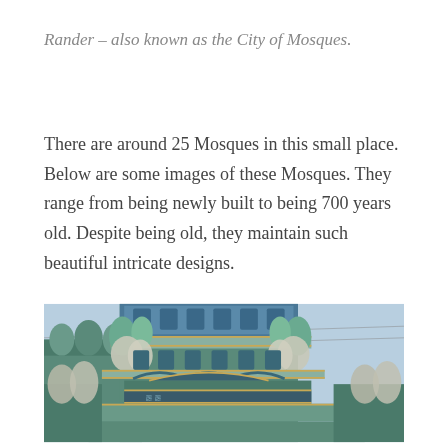Rander – also known as the City of Mosques.
There are around 25 Mosques in this small place. Below are some images of these Mosques. They range from being newly built to being 700 years old. Despite being old, they maintain such beautiful intricate designs.
[Figure (photo): Close-up photograph of an ornate mosque exterior featuring teal/green colored architecture with intricate carved decorative details, baroque-style ornamentation, arched windows, and carved stone reliefs against a light blue sky background. The building has elaborate sculptural elements along its facade.]